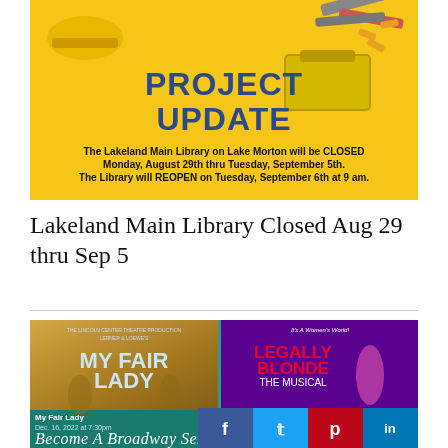[Figure (infographic): Yellow Project Update banner with text: The Lakeland Main Library on Lake Morton will be CLOSED Monday, August 29th thru Tuesday, September 5th. The Library will REOPEN on Tuesday, September 6th at 9 am.]
Lakeland Main Library Closed Aug 29 thru Sep 5
[Figure (infographic): Broadway Series promotional image showing My Fair Lady (Dec. 16, 2022 at 7:30pm) on the left and Legally Blonde the Musical (Jan. 8, ...) on the right, with 'Become A Broadway Series Subscriber and S...' text at the bottom]